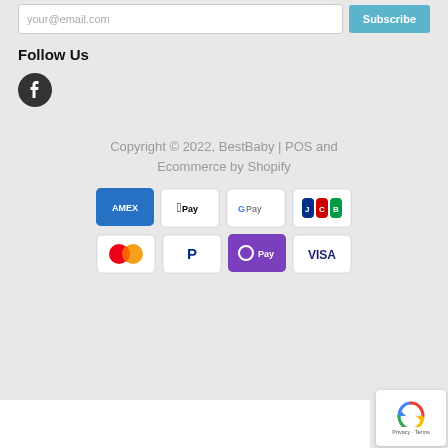[Figure (screenshot): Email input field with placeholder 'your@email.com' and a blue 'Subscribe' button]
Follow Us
[Figure (logo): Facebook circular icon in dark grey/black]
Copyright © 2022, BestBaby | POS and Ecommerce by Shopify
[Figure (infographic): Payment method icons: American Express, Apple Pay, Google Pay, JCB, Mastercard, PayPal, OPay, VISA]
[Figure (screenshot): reCAPTCHA widget showing recycling arrows logo with 'Privacy - Terms' text]